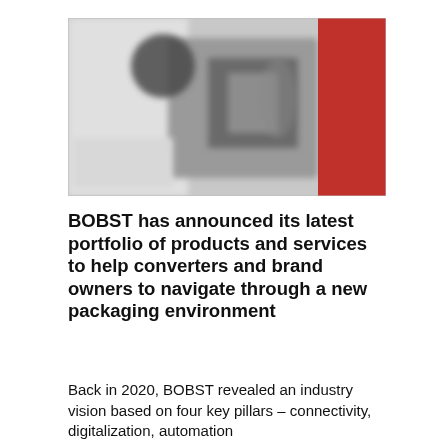[Figure (photo): A blurred industrial/manufacturing photo showing machinery with a prominent red panel on the right side and gray equipment in the center, set in a production or trade show environment.]
BOBST has announced its latest portfolio of products and services to help converters and brand owners to navigate through a new packaging environment
Back in 2020, BOBST revealed an industry vision based on four key pillars – connectivity, digitalization, automation